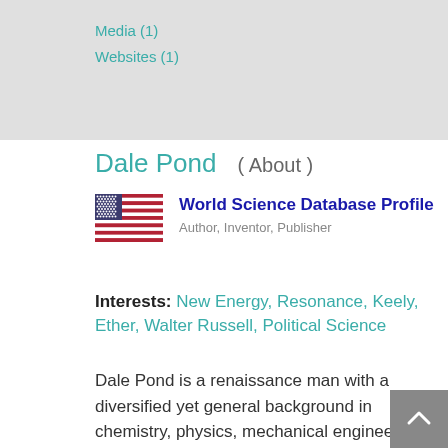Media (1)
Websites (1)
Dale Pond  ( About )
[Figure (illustration): Flag of the United States of America]
World Science Database Profile
Author, Inventor, Publisher
Interests: New Energy, Resonance, Keely, Ether, Walter Russell, Political Science
Dale Pond is a renaissance man with a diversified yet general background in chemistry, physics, mechanical engineering, machinist, metal working